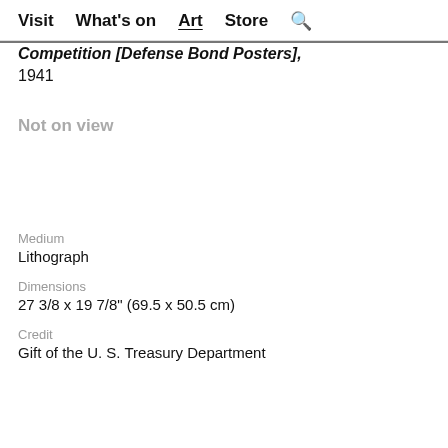Visit   What's on   Art   Store   🔍
Competition [Defense Bond Posters], 1941
Not on view
Medium
Lithograph
Dimensions
27 3/8 x 19 7/8" (69.5 x 50.5 cm)
Credit
Gift of the U. S. Treasury Department